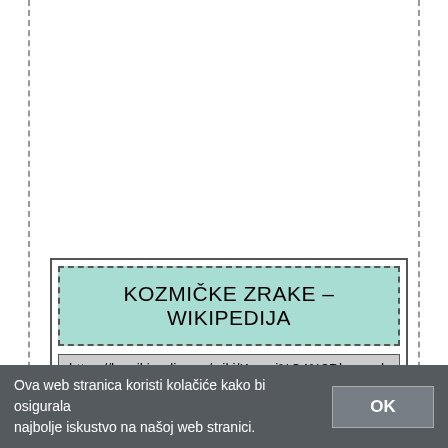KOZMIČKE ZRAKE – WIKIPEDIJA
https://hr.wikipedia.org/wiki/Kozmi%C4%8Dke_zrak
Kozmičke zrake ili kozmičko zračenje je zračenje visoke energije koje dopire na Zemlju iz svemira. Još početkom 20. stoljeća je opaženo da se nabijeni ...
Ova web stranica koristi kolačiće kako bi osigurala najbolje iskustvo na našoj web stranici.